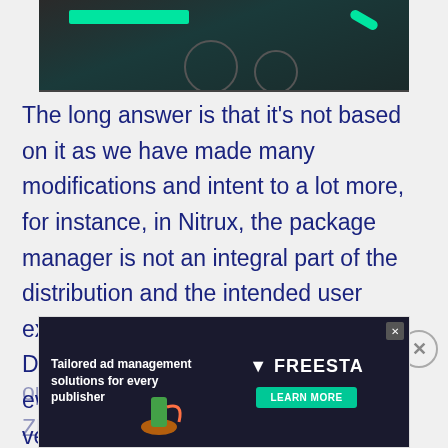[Figure (screenshot): Dark-themed UI screenshot showing a teal/green bar and circular elements on a dark background]
The long answer is that it's not based on it as we have made many modifications and intent to a lot more, for instance, in Nitrux, the package manager is not an integral part of the distribution and the intended user experience. As a matter of fact, in the Development build of Nitrux (which eventually becomes the new Stable version), neither APT and dpkg are present since the idea is to use AppImages to manage software and ZNX to manipulate the
[Figure (screenshot): Advertisement overlay: 'Tailored ad management solutions for every publisher' with FREESTA logo and LEARN MORE button]
operating system... With that in mind, ZNX as a means to... might not be available as an AppImage, but